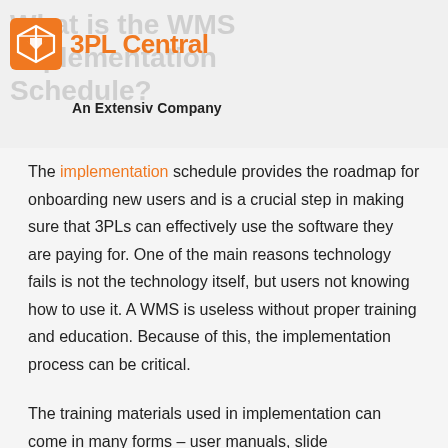[Figure (logo): 3PL Central logo with orange box icon and text '3PL Central', subtitle 'An Extensiv Company']
What is the WMS Implementation Schedule?
The implementation schedule provides the roadmap for onboarding new users and is a crucial step in making sure that 3PLs can effectively use the software they are paying for. One of the main reasons technology fails is not the technology itself, but users not knowing how to use it. A WMS is useless without proper training and education. Because of this, the implementation process can be critical.
The training materials used in implementation can come in many forms – user manuals, slide